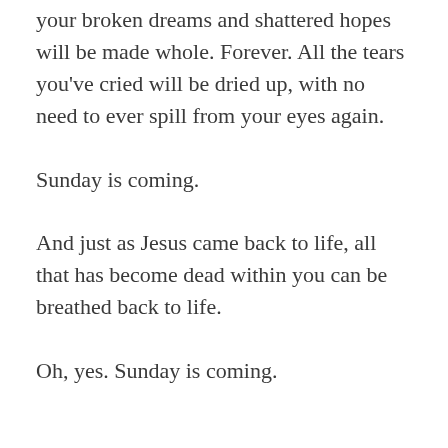your broken dreams and shattered hopes will be made whole. Forever. All the tears you've cried will be dried up, with no need to ever spill from your eyes again.
Sunday is coming.
And just as Jesus came back to life, all that has become dead within you can be breathed back to life.
Oh, yes. Sunday is coming.